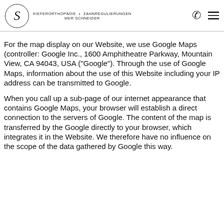KIEFERORTHOPÄDIE • ZAHNREGULIERUNGEN MER SCHNEIDER
For the map display on our Website, we use Google Maps (controller: Google Inc., 1600 Amphitheatre Parkway, Mountain View, CA 94043, USA ("Google"). Through the use of Google Maps, information about the use of this Website including your IP address can be transmitted to Google.
When you call up a sub-page of our internet appearance that contains Google Maps, your browser will establish a direct connection to the servers of Google. The content of the map is transferred by the Google directly to your browser, which integrates it in the Website. We therefore have no influence on the scope of the data gathered by Google this way.